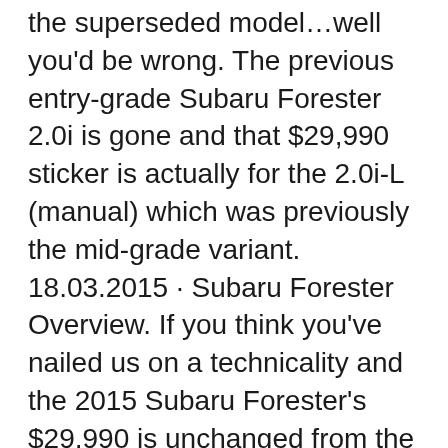the superseded model…well you'd be wrong. The previous entry-grade Subaru Forester 2.0i is gone and that $29,990 sticker is actually for the 2.0i-L (manual) which was previously the mid-grade variant. 18.03.2015 · Subaru Forester Overview. If you think you've nailed us on a technicality and the 2015 Subaru Forester's $29,990 is unchanged from the superseded model…well you'd be wrong. The previous entry-grade Subaru Forester 2.0i is gone and that $29,990 sticker is actually for the 2.0i-L (manual) which was previously the mid-grade variant.
Subaru Forester III SH, Manuály uživatelské, Anglicky, 8.2 MB. Menu